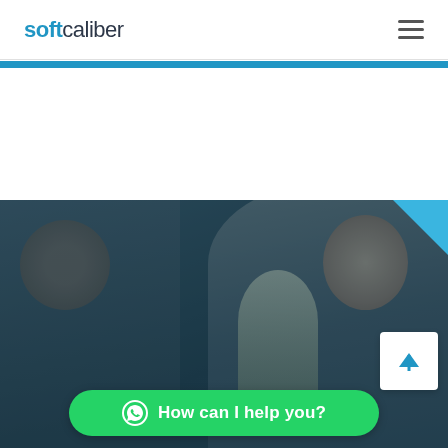softcaliber
[Figure (photo): Hero image showing people in an office/workplace setting with a teal/blue color overlay. A man with glasses and beard is prominently visible on the right side. A woman is visible on the left. A green WhatsApp-style chat button reads 'How can I help you?' overlays the bottom of the image.]
Po...